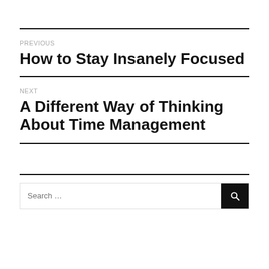PREVIOUS
How to Stay Insanely Focused
NEXT
A Different Way of Thinking About Time Management
Search ...